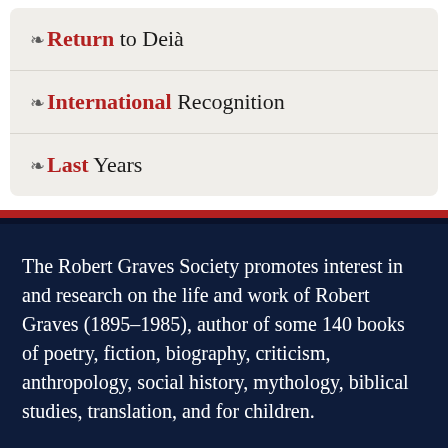↗ Return to Deià
↗ International Recognition
↗ Last Years
The Robert Graves Society promotes interest in and research on the life and work of Robert Graves (1895–1985), author of some 140 books of poetry, fiction, biography, criticism, anthropology, social history, mythology, biblical studies, translation, and for children.